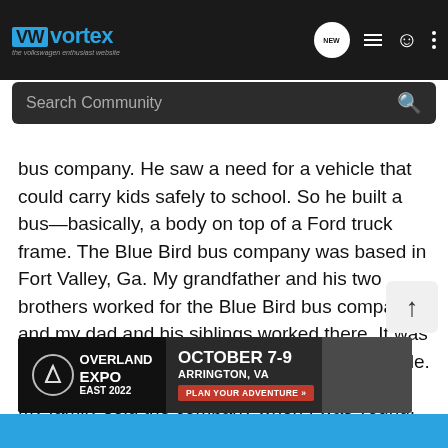VWvortex - the volkswagen enthusiast website
Search Community
bus company. He saw a need for a vehicle that could carry kids safely to school. So he built a bus—basically, a body on top of a Ford truck frame. The Blue Bird bus company was based in Fort Valley, Ga. My grandfather and his two brothers worked for the Blue Bird bus company, and my dad and his siblings worked there. It was a whole-family thing and a source of family pride.
My family sold the company when I was young, but my grandfather Joe Luce kept Blue Bird bus No. 1—the oldest surviving school bus in the country—on his property in Georgia. As a kid, I used to ride around in it. Blue Bird bus No. 1 was later moved to the Henry Ford museum in Dearborn, Mich., where it
[Figure (infographic): Overland Expo East 2022 advertisement banner. October 7-9, Arrington, VA. Plan Your Adventure button.]